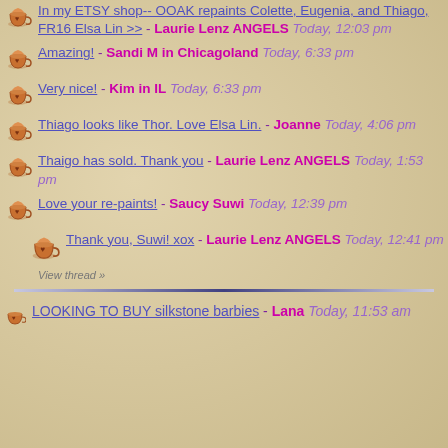In my ETSY shop-- OOAK repaints Colette, Eugenia, and Thiago, FR16 Elsa Lin >> - Laurie Lenz ANGELS Today, 12:03 pm
Amazing! - Sandi M in Chicagoland Today, 6:33 pm
Very nice! - Kim in IL Today, 6:33 pm
Thiago looks like Thor. Love Elsa Lin. - Joanne Today, 4:06 pm
Thaigo has sold. Thank you - Laurie Lenz ANGELS Today, 1:53 pm
Love your re-paints! - Saucy Suwi Today, 12:39 pm
Thank you, Suwi! xox - Laurie Lenz ANGELS Today, 12:41 pm
View thread »
LOOKING TO BUY silkstone barbies - Lana Today, 11:53 am